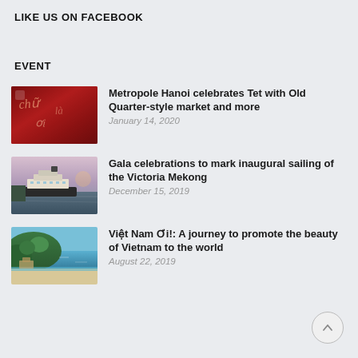LIKE US ON FACEBOOK
EVENT
[Figure (photo): Red decorative banner with calligraphy]
Metropole Hanoi celebrates Tet with Old Quarter-style market and more
January 14, 2020
[Figure (photo): Cruise ship on river at dusk]
Gala celebrations to mark inaugural sailing of the Victoria Mekong
December 15, 2019
[Figure (photo): Aerial view of tropical beach with forest]
Việt Nam Ơi!: A journey to promote the beauty of Vietnam to the world
August 22, 2019